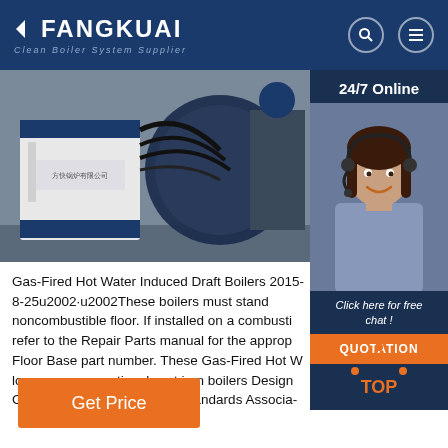FANGKUAI - Clean Boiler System Supplier
[Figure (photo): Gas-fired hot water induced draft boiler unit installed in a facility, showing blue and white industrial boiler equipment with cables and cylindrical drum.]
[Figure (photo): 24/7 Online customer service agent - woman with headset smiling, alongside 'Click here for free chat!' and QUOTATION button.]
Gas-Fired Hot Water Induced Draft Boilers 2015-8-25u2002·u2002These boilers must stand noncombustible floor. If installed on a combusti refer to the Repair Parts manual for the approp Floor Base part number. These Gas-Fired Hot W low pressure, sectional cast iron boilers Design Certified by CSA (Canadian Standards Associa-
[Figure (other): TOP navigation button with orange dotted triangle icon and 'TOP' text in orange]
Get Price